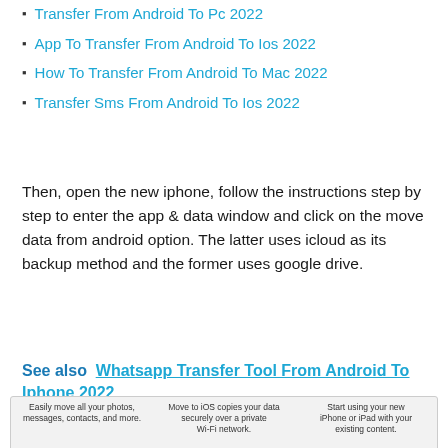Transfer From Android To Pc 2022
App To Transfer From Android To Ios 2022
How To Transfer From Android To Mac 2022
Transfer Sms From Android To Ios 2022
Then, open the new iphone, follow the instructions step by step to enter the app & data window and click on the move data from android option. The latter uses icloud as its backup method and the former uses google drive.
See also  Whatsapp Transfer Tool From Android To Iphone 2022
[Figure (screenshot): Three smartphone screenshots showing Move to iOS app features: 'Easily move all your photos, messages, contacts, and more.', 'Move to iOS copies your data securely over a private Wi-Fi network.', 'Start using your new iPhone or iPad with your existing content.']